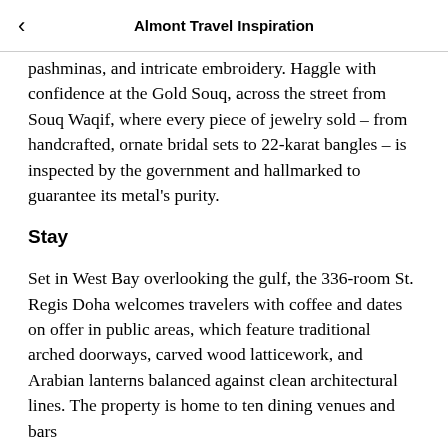Almont Travel Inspiration
pashminas, and intricate embroidery. Haggle with confidence at the Gold Souq, across the street from Souq Waqif, where every piece of jewelry sold – from handcrafted, ornate bridal sets to 22-karat bangles – is inspected by the government and hallmarked to guarantee its metal's purity.
Stay
Set in West Bay overlooking the gulf, the 336-room St. Regis Doha welcomes travelers with coffee and dates on offer in public areas, which feature traditional arched doorways, carved wood latticework, and Arabian lanterns balanced against clean architectural lines. The property is home to ten dining venues and bars